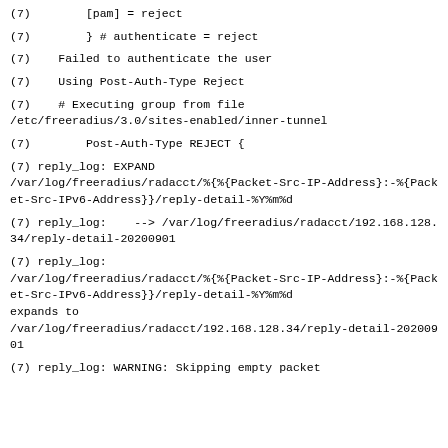(7)        [pam] = reject
(7)        } # authenticate = reject
(7)    Failed to authenticate the user
(7)    Using Post-Auth-Type Reject
(7)    # Executing group from file
/etc/freeradius/3.0/sites-enabled/inner-tunnel
(7)        Post-Auth-Type REJECT {
(7) reply_log: EXPAND
/var/log/freeradius/radacct/%{%{Packet-Src-IP-Address}:-%{Packet-Src-IPv6-Address}}/reply-detail-%Y%m%d
(7) reply_log:    --> /var/log/freeradius/radacct/192.168.128.34/reply-detail-20200901
(7) reply_log:
/var/log/freeradius/radacct/%{%{Packet-Src-IP-Address}:-%{Packet-Src-IPv6-Address}}/reply-detail-%Y%m%d
expands to
/var/log/freeradius/radacct/192.168.128.34/reply-detail-20200901
(7) reply_log: WARNING: Skipping empty packet